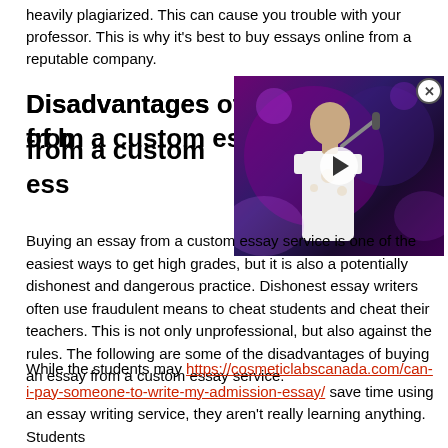heavily plagiarized. This can cause you trouble with your professor. This is why it's best to buy essays online from a reputable company.
Disadvantages of buying from a custom essay service
[Figure (photo): Video overlay thumbnail showing a performer singing into a microphone on stage with purple stage lighting, with a play button in the center and a close (X) button in the top right corner.]
Buying an essay from a custom essay service is one of the easiest ways to get high grades, but it is also a potentially dishonest and dangerous practice. Dishonest essay writers often use fraudulent means to cheat students and cheat their teachers. This is not only unprofessional, but also against the rules. The following are some of the disadvantages of buying an essay from a custom essay service.
While the students may https://cosmeticlabscanada.com/can-i-pay-someone-to-write-my-admission-essay/ save time using an essay writing service, they aren't really learning anything. Students